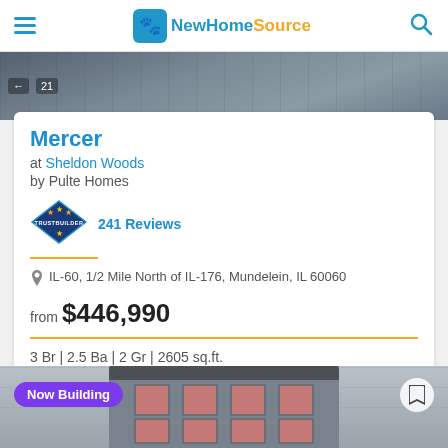NewHomeSource
[Figure (photo): Partial photo of a home exterior at top of page]
Mercer
at Sheldon Woods
by Pulte Homes
[Figure (logo): TrustBuilder badge logo]
241 Reviews
IL-60, 1/2 Mile North of IL-176, Mundelein, IL 60060
from $446,990
3 Br | 2.5 Ba | 2 Gr | 2605 sq.ft.
Get Brochure
[Figure (photo): Bottom photo strip showing a home exterior with Now Building badge]
Now Building